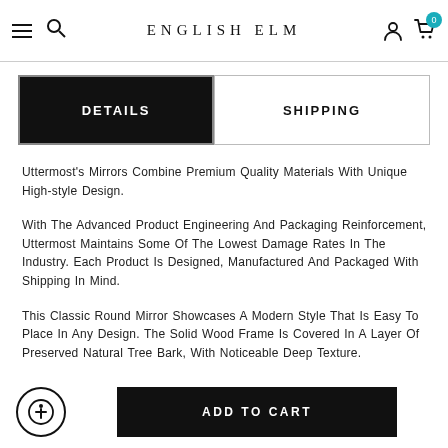ENGLISH ELM
DETAILS | SHIPPING
Uttermost's Mirrors Combine Premium Quality Materials With Unique High-style Design.
With The Advanced Product Engineering And Packaging Reinforcement, Uttermost Maintains Some Of The Lowest Damage Rates In The Industry. Each Product Is Designed, Manufactured And Packaged With Shipping In Mind.
This Classic Round Mirror Showcases A Modern Style That Is Easy To Place In Any Design. The Solid Wood Frame Is Covered In A Layer Of Preserved Natural Tree Bark, With Noticeable Deep Texture.
ADD TO CART